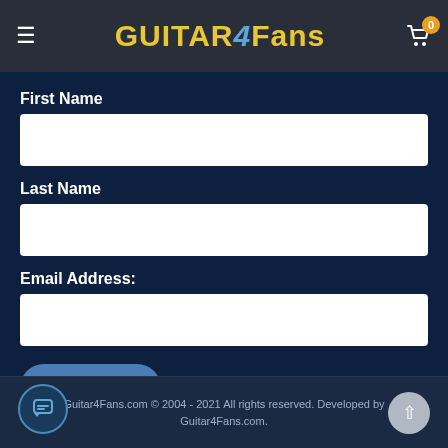GUITAR4Fans
First Name
Last Name
Email Address:
SIGN UP
Guitar4Fans.com © 2004 - 2021 All rights reserved. Developed by Guitar4Fans.com.